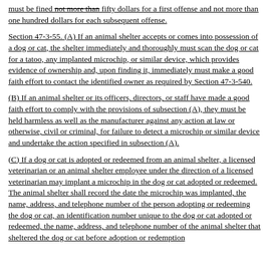must be fined not more than fifty dollars for a first offense and not more than one hundred dollars for each subsequent offense.
Section 47-3-55. (A) If an animal shelter accepts or comes into possession of a dog or cat, the shelter immediately and thoroughly must scan the dog or cat for a tatoo, any implanted microchip, or similar device, which provides evidence of ownership and, upon finding it, immediately must make a good faith effort to contact the identified owner as required by Section 47-3-540.
(B) If an animal shelter or its officers, directors, or staff have made a good faith effort to comply with the provisions of subsection (A), they must be held harmless as well as the manufacturer against any action at law or otherwise, civil or criminal, for failure to detect a microchip or similar device and undertake the action specified in subsection (A).
(C) If a dog or cat is adopted or redeemed from an animal shelter, a licensed veterinarian or an animal shelter employee under the direction of a licensed veterinarian may implant a microchip in the dog or cat adopted or redeemed. The animal shelter shall record the date the microchip was implanted, the name, address, and telephone number of the person adopting or redeeming the dog or cat, an identification number unique to the dog or cat adopted or redeemed, the name, address, and telephone number of the animal shelter that sheltered the dog or cat before adoption or redemption